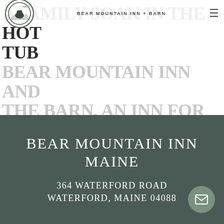BEAR MOUNTAIN INN + BARN
BEAR MOUNTAIN INN AND THE BARN, AN INN FOR ALL SEASONS, WILL GIVE YOUR FAMILY A VACATION THEY'LL REMEMBER, BEGGING TO COME BACK AGAIN!
BEAR MOUNTAIN INN MAINE
364 WATERFORD ROAD WATERFORD, MAINE 04088